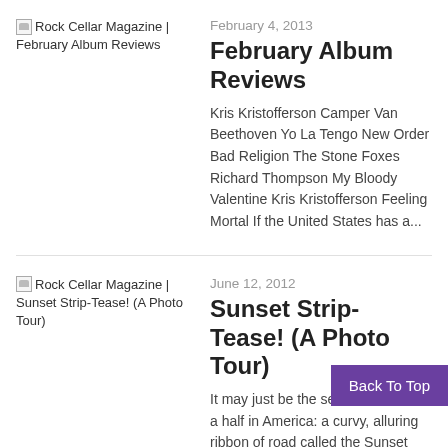[Figure (screenshot): Thumbnail image placeholder for Rock Cellar Magazine | February Album Reviews]
February 4, 2013
February Album Reviews
Kris Kristofferson Camper Van Beethoven Yo La Tengo New Order Bad Religion The Stone Foxes Richard Thompson My Bloody Valentine Kris Kristofferson Feeling Mortal If the United States has a...
[Figure (screenshot): Thumbnail image placeholder for Rock Cellar Magazine | Sunset Strip-Tease! (A Photo Tour)]
June 12, 2012
Sunset Strip-Tease! (A Photo Tour)
It may just be the sexiest mile and a half in America: a curvy, alluring ribbon of road called the Sunset Strip. Since the 1930s, of Sunset Boulevard